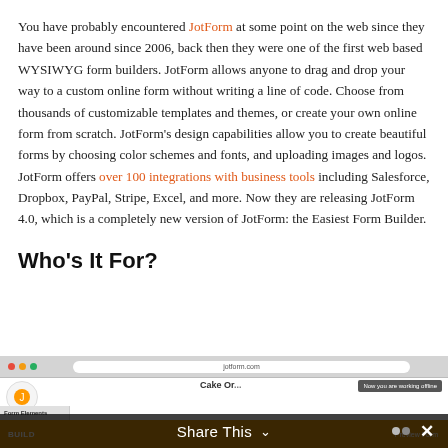You have probably encountered JotForm at some point on the web since they have been around since 2006, back then they were one of the first web based WYSIWYG form builders. JotForm allows anyone to drag and drop your way to a custom online form without writing a line of code. Choose from thousands of customizable templates and themes, or create your own online form from scratch. JotForm's design capabilities allow you to create beautiful forms by choosing color schemes and fonts, and uploading images and logos. JotForm offers over 100 integrations with business tools including Salesforce, Dropbox, PayPal, Stripe, Excel, and more. Now they are releasing JotForm 4.0, which is a completely new version of JotForm: the Easiest Form Builder.
Who's It For?
[Figure (screenshot): Screenshot of JotForm 4.0 interface showing a browser window with a cake order form, with a 'Share This' overlay bar at the bottom]